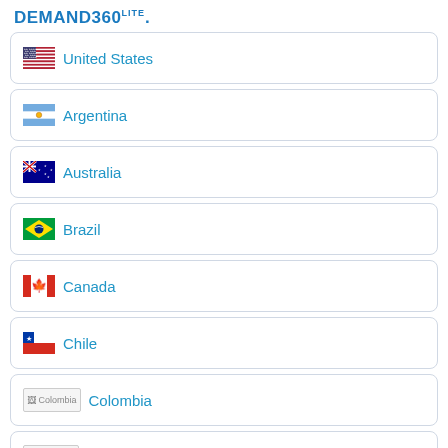DEMAND360LITE.
United States
Argentina
Australia
Brazil
Canada
Chile
Colombia
Denmark